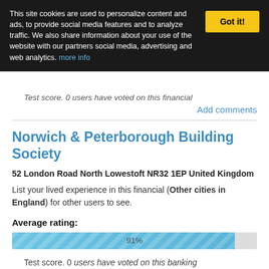This site cookies are used to personalize content and ads, to provide social media features and to analyze traffic. We also share information about your use of the website with our partners social media, advertising and web analytics. more info
Test score. 0 users have voted on this financial
Add comments
Norwich & Peterborough Building Society
52 London Road North Lowestoft NR32 1EP United Kingdom
List your lived experience in this financial (Other cities in England) for other users to see.
Average rating:
[Figure (bar-chart): Average rating]
Test score. 0 users have voted on this banking
Add comments
Nationwide Building Society